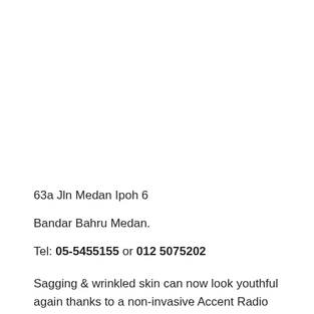63a Jln Medan Ipoh 6
Bandar Bahru Medan.
Tel: 05-5455155 or 012 5075202
Sagging & wrinkled skin can now look youthful again thanks to a non-invasive Accent Radio Frequency procedure